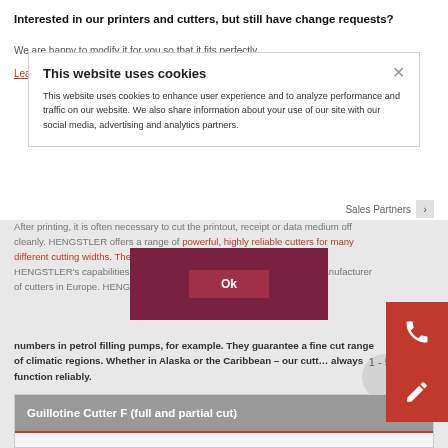Interested in our printers and cutters, but still have change requests?
We are happy to modify it for you so that it fits perfectly.
Learn more
This website uses cookies
This website uses cookies to enhance user experience and to analyze performance and traffic on our website. We also share information about your use of our site with our social media, advertising and analytics partners.
After printing, it is often necessary to cut the printout, receipt or data medium off cleanly. HENGSTLER offers a range of powerful, highly reliable cutters for many different cutting widths. They are maintenance free and self-sharpening. HENGSTLER's capabilities and experience have made this the largest manufacturer of cutters in Europe. HENGSTLER cutters are in use in large numbers in petrol filling pumps, for example. They guarantee a fine cut range of climatic regions. Whether in Alaska or the Caribbean — our cutters always function reliably.
1 - 5 of 5
Guillotine Cutter F (full and partial cut)